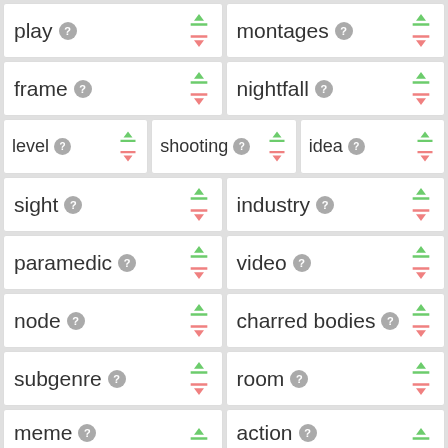[Figure (screenshot): UI screenshot showing a grid of word cards with upvote/downvote buttons. Words shown: play, montages, frame, nightfall, level, shooting, idea, sight, industry, paramedic, video, node, charred bodies, subgenre, room, meme, action. Each card has a question mark icon and thumbs up/down buttons.]